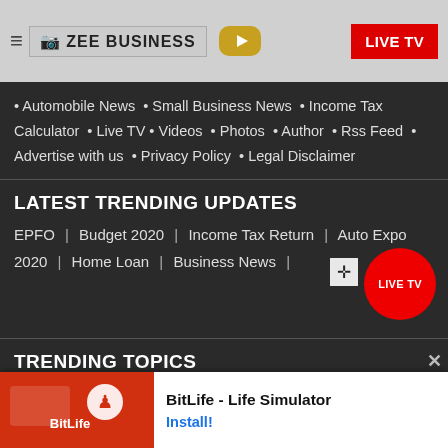ZEE BUSINESS | LIVE TV
• Automobile News  • Small Business News  • Income Tax Calculator  • Live TV  • Videos  • Photos  • Author  • Rss Feed  • Advertise with us  • Privacy Policy  • Legal Disclaimer
LATEST TRENDING UPDATES
EPFO | Budget 2020 | Income Tax Return | Auto Expo 2020 | Home Loan | Business News |
TRENDING TOPICS
Income...
Comm...est
[Figure (screenshot): Ad banner for BitLife - Life Simulator with Install button]